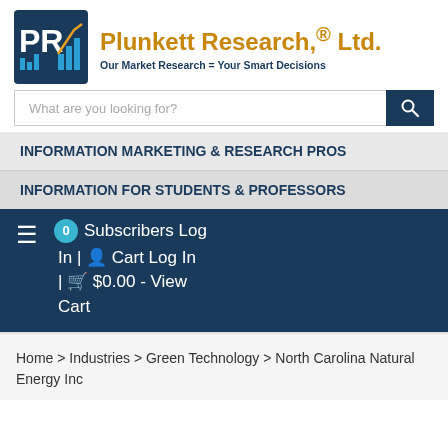[Figure (logo): Plunkett Research Ltd logo with PR initials and chart graphic]
Plunkett Research,® Ltd.
Our Market Research = Your Smart Decisions
What are you looking for?
INFORMATION MARKETING & RESEARCH PROS
INFORMATION FOR STUDENTS & PROFESSORS
0 Subscribers Log In | Cart Log In | $0.00 - View Cart
Home > Industries > Green Technology > North Carolina Natural Energy Inc